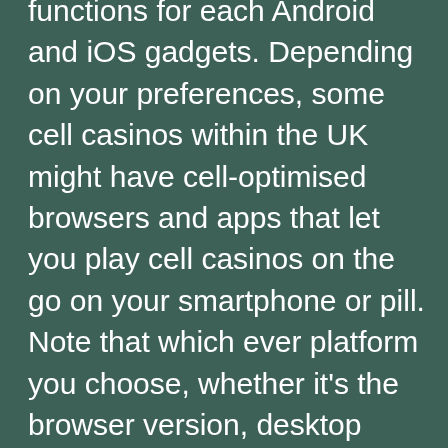functions for each Android and iOS gadgets. Depending on your preferences, some cell casinos within the UK might have cell-optimised browsers and apps that let you play cell casinos on the go on your smartphone or pill. Note that which ever platform you choose, whether it's the browser version, desktop clients or cellular on-line casinos, you're certain to have heaps of enjoyable. Great bonus provides don't only translate to more money to play with, they're additionally a telltale signal of properly-established online casinos in the UK.